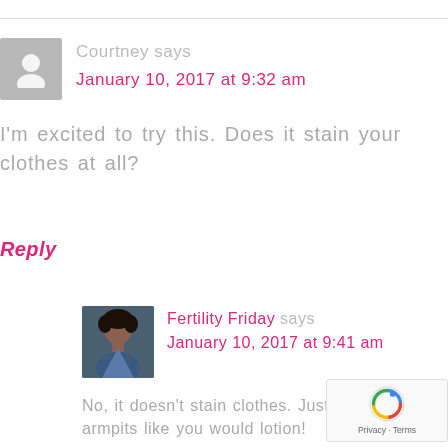[Figure (photo): Gray placeholder avatar icon for commenter Courtney]
Courtney says
January 10, 2017 at 9:32 am
I'm excited to try this. Does it stain your clothes at all?
Reply
[Figure (photo): Profile photo of Fertility Friday author — woman with curly hair and denim jacket]
Fertility Friday says
January 10, 2017 at 9:41 am
No, it doesn't stain clothes. Just rub it in armpits like you would lotion!